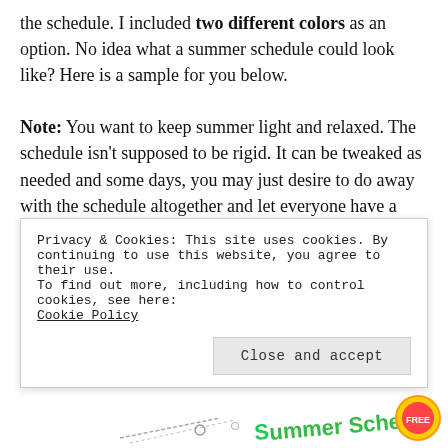the schedule. I included two different colors as an option. No idea what a summer schedule could look like? Here is a sample for you below.

Note: You want to keep summer light and relaxed. The schedule isn't supposed to be rigid. It can be tweaked as needed and some days, you may just desire to do away with the schedule altogether and let everyone have a break from it. You may also desire to try something for a few weeks and change it up as needed. But it does need to be enforced enough to keep everyone on track
Privacy & Cookies: This site uses cookies. By continuing to use this website, you agree to their use.
To find out more, including how to control cookies, see here: Cookie Policy

[Close and accept]
[Figure (photo): Bottom strip showing partial image with colorful 'Summer Schedule' text in green and a circular logo/badge on the right]